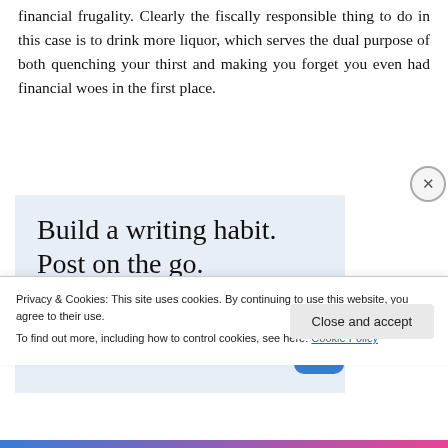financial frugality. Clearly the fiscally responsible thing to do in this case is to drink more liquor, which serves the dual purpose of both quenching your thirst and making you forget you even had financial woes in the first place.
[Figure (other): Advertisement banner for WordPress app with text 'Build a writing habit. Post on the go.' and a 'GET THE APP' call-to-action with WordPress logo icon.]
Privacy & Cookies: This site uses cookies. By continuing to use this website, you agree to their use.
To find out more, including how to control cookies, see here: Cookie Policy